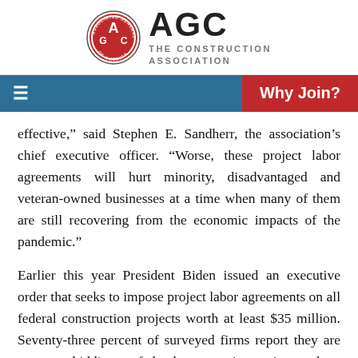AGC THE CONSTRUCTION ASSOCIATION
Why Join?
effective,” said Stephen E. Sandherr, the association’s chief executive officer. “Worse, these project labor agreements will hurt minority, disadvantaged and veteran-owned businesses at a time when many of them are still recovering from the economic impacts of the pandemic.”
Earlier this year President Biden issued an executive order that seeks to impose project labor agreements on all federal construction projects worth at least $35 million. Seventy-three percent of surveyed firms report they are currently bidding on federal construction projects valued at $35 million or more. Yet the same percentage, 73 percent, said they would not bid on those projects if a project labor agreement were required.